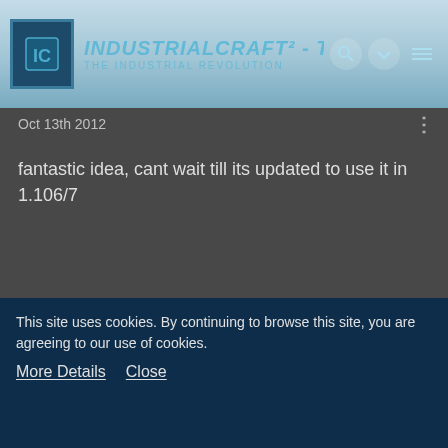IndustrialCraft² - The Forum — The Industrial Revolution
Oct 13th 2012
fantastic idea, cant wait till its updated to use it in 1.106/7
neosatan
Tree Cutter
Oct 14th 2012
What I think about Greg HUD for QHelmet? Dunno. Didn't see it, or heard any details.
This site uses cookies. By continuing to browse this site, you are agreeing to our use of cookies.